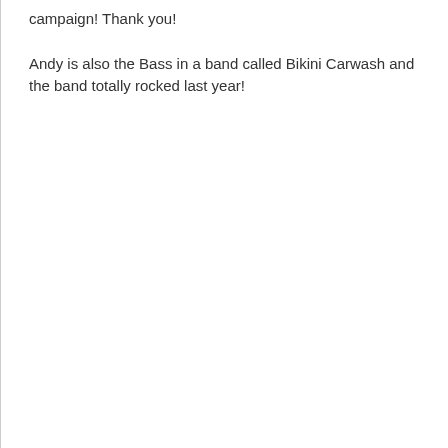campaign! Thank you!
Andy is also the Bass in a band called Bikini Carwash and the band totally rocked last year!